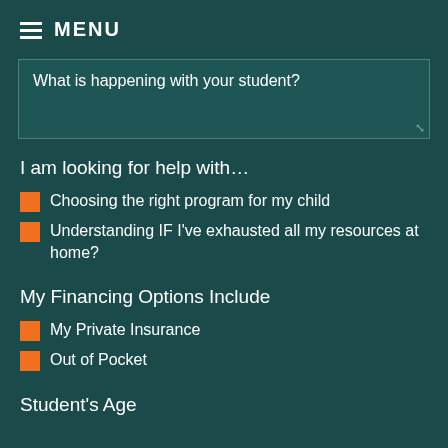MENU
What is happening with your student?
I am looking for help with…
Choosing the right program for my child
Understanding IF I've exhausted all my resources at home?
My Financing Options Include
My Private Insurance
Out of Pocket
Student's Age